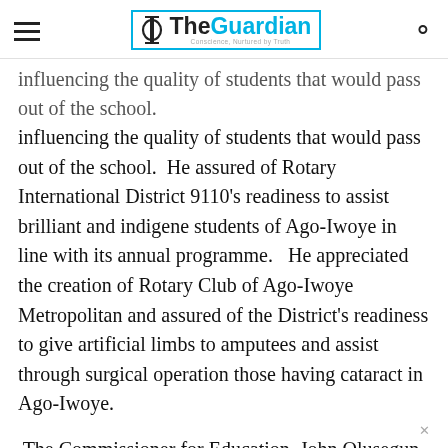The Guardian — Conscience, Nurtured by Truth
influencing the quality of students that would pass out of the school.  He assured of Rotary International District 9110’s readiness to assist brilliant and indigene students of Ago-Iwoye in line with its annual programme.   He appreciated the creation of Rotary Club of Ago-Iwoye Metropolitan and assured of the District’s readiness to give artificial limbs to amputees and assist through surgical operation those having cataract in Ago-Iwoye.
The Commissioner for Education, John Olusegun Odubela, lawyer, who was represented at the programme by Mrs. Osho Olukoya said he was